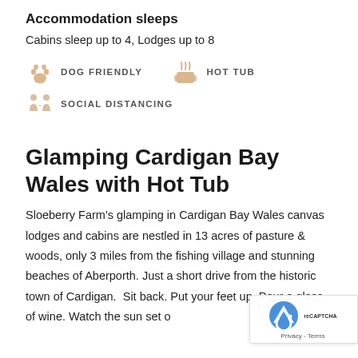Accommodation sleeps
Cabins sleep up to 4, Lodges up to 8
DOG FRIENDLY
HOT TUB
SOCIAL DISTANCING
Glamping Cardigan Bay Wales with Hot Tub
Sloeberry Farm’s glamping in Cardigan Bay Wales canvas lodges and cabins are nestled in 13 acres of pasture & woods, only 3 miles from the fishing village and stunning beaches of Aberporth. Just a short drive from the historic town of Cardigan.  Sit back. Put your feet up. Pour a glass of wine. Watch the sun set o…